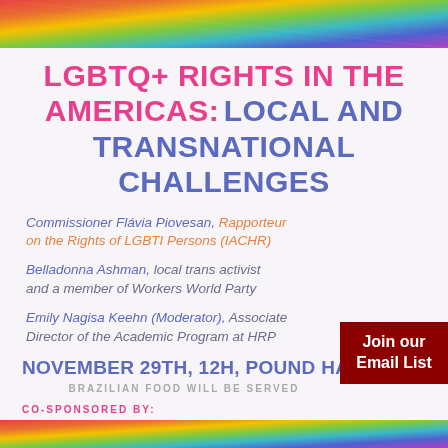[Figure (illustration): Rainbow pride flag diagonal stripe banner at the top of the flyer]
LGBTQ+ RIGHTS IN THE AMERICAS: LOCAL AND TRANSNATIONAL CHALLENGES
Commissioner Flávia Piovesan, Rapporteur on the Rights of LGBTI Persons (IACHR)
Belladonna Ashman, local trans activist and a member of Workers World Party
Emily Nagisa Keehn (Moderator), Associate Director of the Academic Program at HRP
NOVEMBER 29TH, 12H, POUND HA...
BRAZILIAN FOOD WILL BE SERVED
CO-SPONSORED BY:
[Figure (illustration): Join our Email List - dark red button overlay]
[Figure (illustration): Rainbow pride flag diagonal stripe banner at the bottom of the flyer]